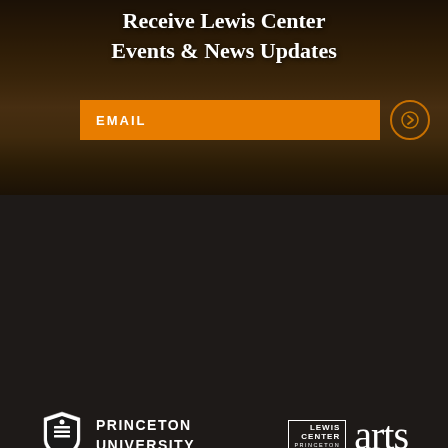Receive Lewis Center Events & News Updates
EMAIL
[Figure (logo): Princeton University shield logo with text PRINCETON UNIVERSITY]
[Figure (logo): Lewis Center Princeton arts logo]
INFORMATION FOR ...
PROSPECTIVE STUDENTS
CURRENT STUDENTS
ALUMNI
ARTISTS
MEDIA / PRESS
VISITORS